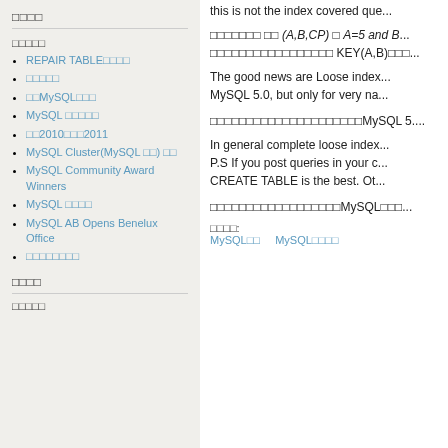□□□□
□□□□□
REPAIR TABLE□□□□
□□□□□
□□MySQL□□□
MySQL □□□□□
□□2010□□□2011
MySQL Cluster(MySQL □□) □□
MySQL Community Award Winners
MySQL □□□□
MySQL AB Opens Benelux Office
□□□□□□□□
this is not the index covered que...
□□□□□□□ □□ (A,B,CP) □ A=5 and B... □□□□□□□□□□□□□□□□□ KEY(A,B)□□□...
The good news are Loose index... MySQL 5.0, but only for very na...
□□□□□□□□□□□□□□□□□□□□□MySQL 5....
In general complete loose index... P.S If you post queries in your c... CREATE TABLE is the best. Ot...
□□□□□□□□□□□□□□□□□□MySQL□□□...
□□□□: MySQL□□   MySQL□□□□
□□□□
□□□□□